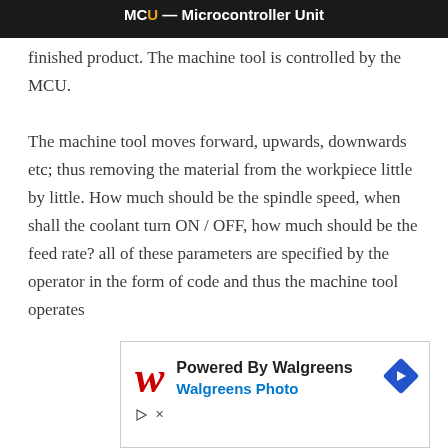MCU - Microcontroller Unit
finished product. The machine tool is controlled by the MCU.
The machine tool moves forward, upwards, downwards etc; thus removing the material from the workpiece little by little. How much should be the spindle speed, when shall the coolant turn ON / OFF, how much should be the feed rate? all of these parameters are specified by the operator in the form of code and thus the machine tool operates
[Figure (other): Advertisement banner: Powered By Walgreens - Walgreens Photo, with Walgreens logo (red italic W) and blue navigation arrow icon]